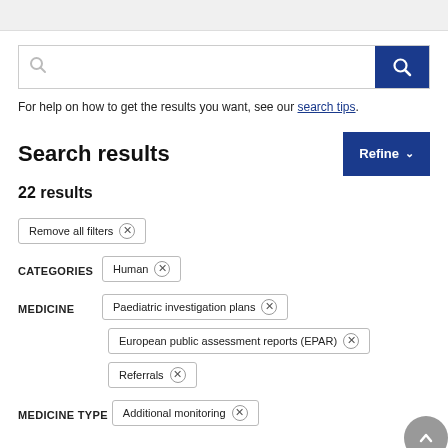[Figure (screenshot): Search box with grey search icon on left and blue search button with white magnifying glass icon on right]
For help on how to get the results you want, see our search tips.
Search results
22 results
Remove all filters ×
CATEGORIES  Human ×
MEDICINE  Paediatric investigation plans ×
European public assessment reports (EPAR) ×  Referrals ×
MEDICINE TYPE  Additional monitoring ×